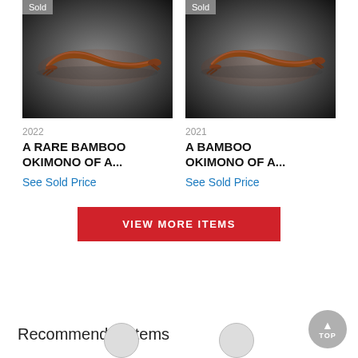[Figure (photo): Bronze/bamboo okimono sculpture of an animal on dark background, with 'Sold' badge, year 2022]
2022
A RARE BAMBOO OKIMONO OF A...
See Sold Price
[Figure (photo): Bronze/bamboo okimono sculpture of an animal on dark background, with 'Sold' badge, year 2021]
2021
A BAMBOO OKIMONO OF A...
See Sold Price
VIEW MORE ITEMS
Recommended Items